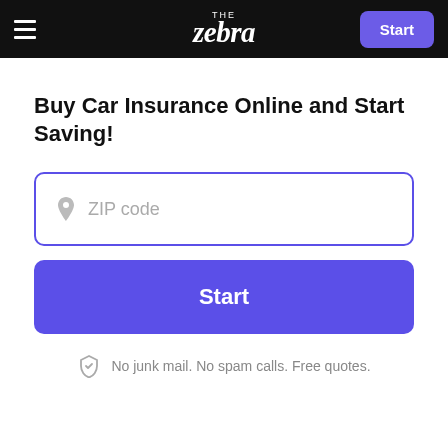THE zebra | Start
Buy Car Insurance Online and Start Saving!
ZIP code
Start
No junk mail. No spam calls. Free quotes.